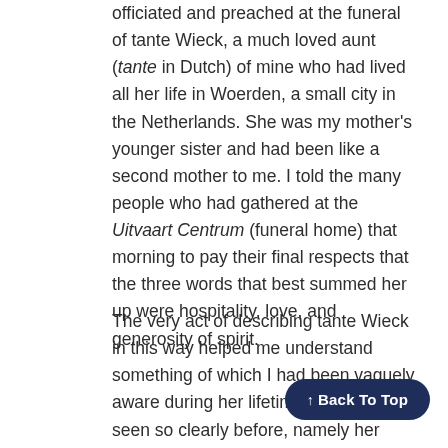officiated and preached at the funeral of tante Wieck, a much loved aunt (tante in Dutch) of mine who had lived all her life in Woerden, a small city in the Netherlands. She was my mother's younger sister and had been like a second mother to me. I told the many people who had gathered at the Uitvaart Centrum (funeral home) that morning to pay their final respects that the three words that best summed her up were hospitality, love, and generosity of spirit.
The very act of describing tante Wieck in this way helped me understand something of which I had been vaguely aware during her lifetime but had never seen so clearly before, namely her deeper, spiritual side. I went on to say that in order to see that part of her, I had to take off my mod... the glasses that I usually wear and that... believe in things that can be proven through the ...